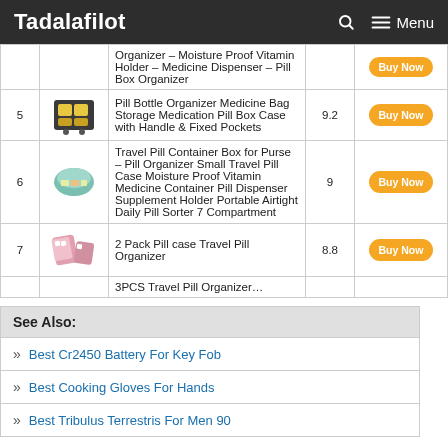Tadalafilot — Menu
| # | Image | Product | Score | Action |
| --- | --- | --- | --- | --- |
|  |  | Organizer – Moisture Proof Vitamin Holder – Medicine Dispenser – Pill Box Organizer |  | Buy Now |
| 5 | [image] | Pill Bottle Organizer Medicine Bag Storage Medication Pill Box Case with Handle & Fixed Pockets | 9.2 | Buy Now |
| 6 | [image] | Travel Pill Container Box for Purse – Pill Organizer Small Travel Pill Case Moisture Proof Vitamin Medicine Container Pill Dispenser Supplement Holder Portable Airtight Daily Pill Sorter 7 Compartment | 9 | Buy Now |
| 7 | [image] | 2 Pack Pill case Travel Pill Organizer | 8.8 | Buy Now |
|  |  | 3PCS Travel Pill Organizer… |  |  |
See Also:
Best Cr2450 Battery For Key Fob
Best Cooking Gloves For Hands
Best Tribulus Terrestris For Men 90